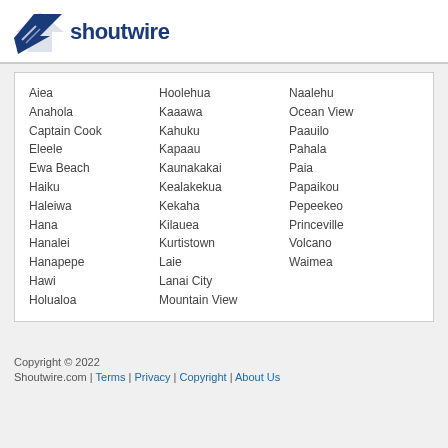shoutwire
Aiea
Anahola
Captain Cook
Eleele
Ewa Beach
Haiku
Haleiwa
Hana
Hanalei
Hanapepe
Hawi
Holualoa
Hoolehua
Kaaawa
Kahuku
Kapaau
Kaunakakai
Kealakekua
Kekaha
Kilauea
Kurtistown
Laie
Lanai City
Mountain View
Naalehu
Ocean View
Paauilo
Pahala
Paia
Papaikou
Pepeekeo
Princeville
Volcano
Waimea
Copyright © 2022 Shoutwire.com | Terms | Privacy | Copyright | About Us